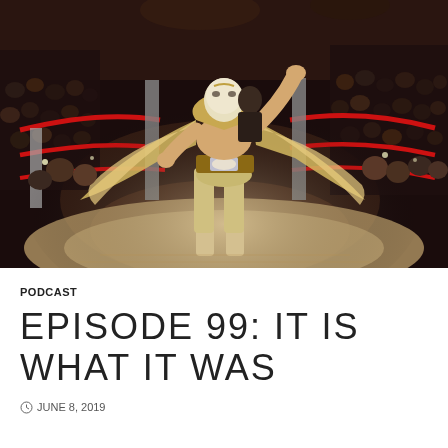[Figure (photo): A masked luchador wrestler in gold/silver costume with championship belt and cape stands triumphantly in a wrestling ring with red ropes, crowd cheering in the background]
PODCAST
EPISODE 99: IT IS WHAT IT WAS
© JUNE 8, 2019